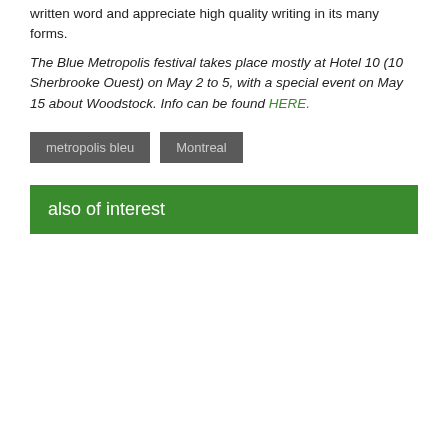written word and appreciate high quality writing in its many forms.
The Blue Metropolis festival takes place mostly at Hotel 10 (10 Sherbrooke Ouest) on May 2 to 5, with a special event on May 15 about Woodstock. Info can be found HERE.
metropolis bleu
Montreal
also of interest